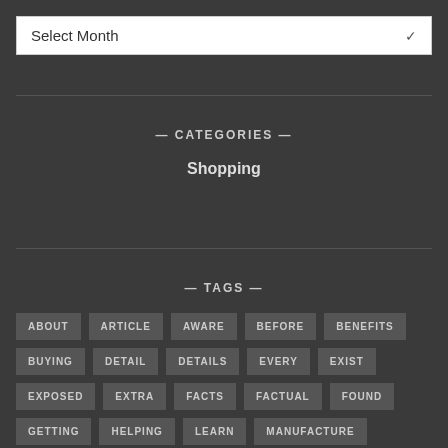Select Month
— CATEGORIES —
Shopping
— TAGS —
ABOUT
ARTICLE
AWARE
BEFORE
BENEFITS
BUYING
DETAIL
DETAILS
EVERY
EXIST
EXPOSED
EXTRA
FACTS
FACTUAL
FOUND
GETTING
HELPING
LEARN
MANUFACTURE
MONEY
NEVER
NOBODY
OTHERS